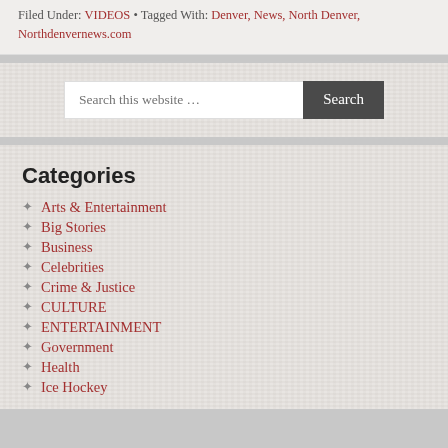Filed Under: VIDEOS • Tagged With: Denver, News, North Denver, Northdenvernews.com
Search this website …
Categories
Arts & Entertainment
Big Stories
Business
Celebrities
Crime & Justice
CULTURE
ENTERTAINMENT
Government
Health
Ice Hockey